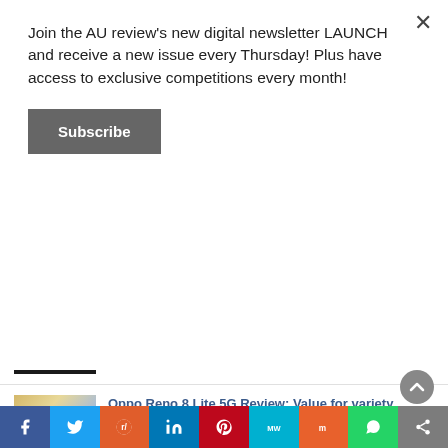Join the AU review's new digital newsletter LAUNCH and receive a new issue every Thursday! Plus have access to exclusive competitions every month!
Subscribe
by Maria Nayef | posted on October 21, 2015
Oppo Reno 8 Lite 5G Review: Value for variety
by Hamza Ali | posted on July 6, 2022
Six places to walk in the footsteps of Elvis & Priscilla Presley in Memphis, Tennessee
by Larry Heath | posted on June 24, 2022